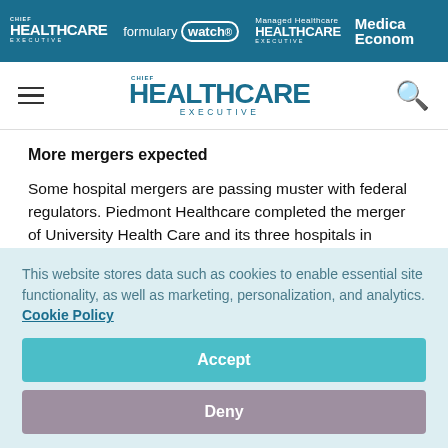CHIEF HEALTHCARE EXECUTIVE | formulary watch | Managed Healthcare EXECUTIVE | Medical Economics
[Figure (logo): Chief Healthcare Executive main navigation bar with hamburger menu, centered CHIEF HEALTHCARE EXECUTIVE logo, and search icon]
More mergers expected
Some hospital mergers are passing muster with federal regulators. Piedmont Healthcare completed the merger of University Health Care and its three hospitals in northern Georgia in March.
This website stores data such as cookies to enable essential site functionality, as well as marketing, personalization, and analytics. Cookie Policy
Accept
Deny